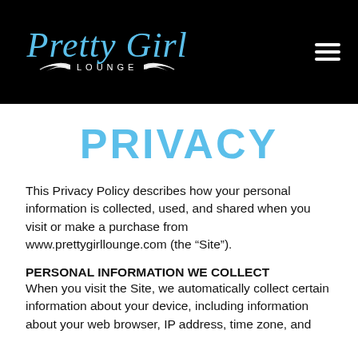Pretty Girl Lounge
PRIVACY
This Privacy Policy describes how your personal information is collected, used, and shared when you visit or make a purchase from www.prettygirllounge.com (the “Site”).
PERSONAL INFORMATION WE COLLECT
When you visit the Site, we automatically collect certain information about your device, including information about your web browser, IP address, time zone, and